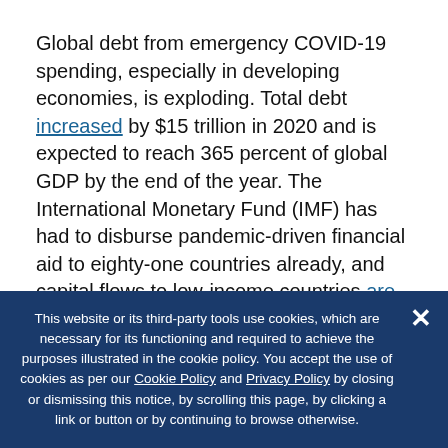Global debt from emergency COVID-19 spending, especially in developing economies, is exploding. Total debt increased by $15 trillion in 2020 and is expected to reach 365 percent of global GDP by the end of the year. The International Monetary Fund (IMF) has had to disburse pandemic-driven financial aid to eighty-one countries already, and capital flows to low-income countries are projected to drop by $700 billion from 2019 levels in 2020. Developing economies need $7 trillion to repay debt by the end of 2021. Zambia is the sixth nation…
This website or its third-party tools use cookies, which are necessary for its functioning and required to achieve the purposes illustrated in the cookie policy. You accept the use of cookies as per our Cookie Policy and Privacy Policy by closing or dismissing this notice, by scrolling this page, by clicking a link or button or by continuing to browse otherwise.